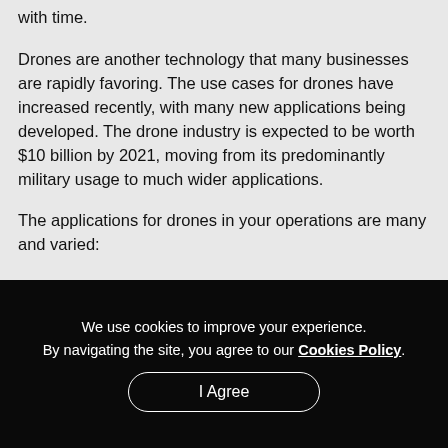with time.
Drones are another technology that many businesses are rapidly favoring. The use cases for drones have increased recently, with many new applications being developed. The drone industry is expected to be worth $10 billion by 2021, moving from its predominantly military usage to much wider applications.
The applications for drones in your operations are many and varied:
We use cookies to improve your experience. By navigating the site, you agree to our Cookies Policy. I Agree